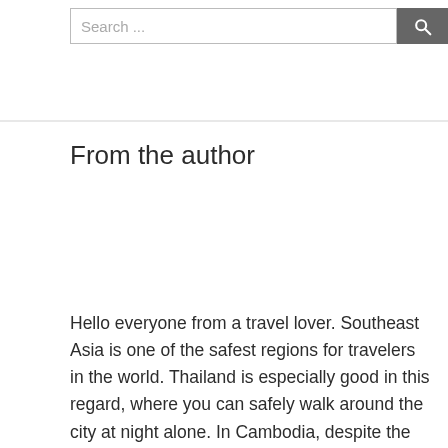Search ...
From the author
Hello everyone from a travel lover. Southeast Asia is one of the safest regions for travelers in the world. Thailand is especially good in this regard, where you can safely walk around the city at night alone. In Cambodia, despite the poor population, it is also quite safe. Vietnam is a country as a whole quite